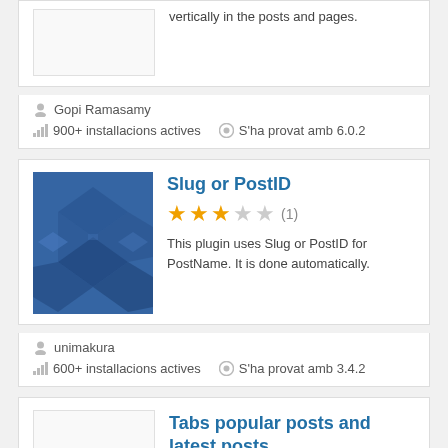vertically in the posts and pages.
Gopi Ramasamy
900+ installacions actives
S'ha provat amb 6.0.2
Slug or PostID
(1) stars: 3 out of 5
This plugin uses Slug or PostID for PostName. It is done automatically.
unimakura
600+ installacions actives
S'ha provat amb 3.4.2
Tabs popular posts and latest posts